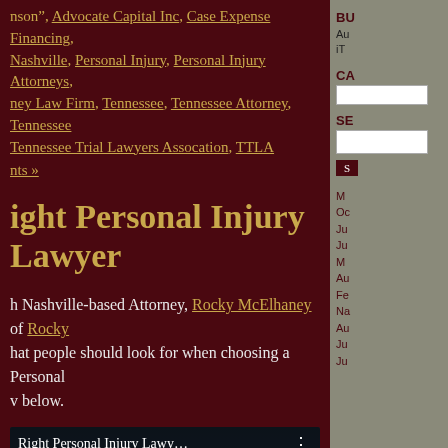nson", Advocate Capital Inc, Case Expense Financing, Nashville, Personal Injury, Personal Injury Attorneys, ney Law Firm, Tennessee, Tennessee Attorney, Tennessee Tennessee Trial Lawyers Assocation, TTLA
ents »
ight Personal Injury Lawyer
h Nashville-based Attorney, Rocky McElhaney of Rocky hat people should look for when choosing a Personal v below.
[Figure (screenshot): Video thumbnail showing a man in a suit against a bookshelf background, with title bar reading 'Right Personal Injury Lawy...']
BU
Au iT
CA
SE
M Oc Ju Ju M Au Fe Na Au Ju Ju